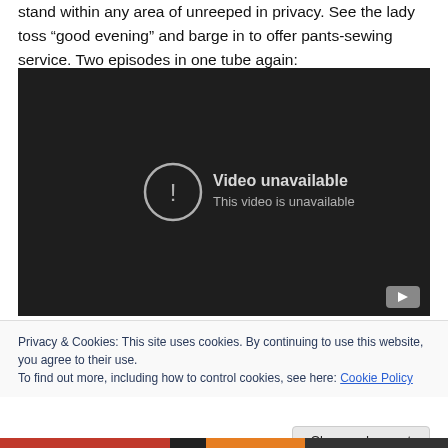stand within any area of unreeped in privacy. See the lady toss “good evening” and barge in to offer pants-sewing service. Two episodes in one tube again:
[Figure (screenshot): Embedded YouTube video player showing 'Video unavailable - This video is unavailable' error message on dark background with YouTube play button icon in bottom right corner.]
Privacy & Cookies: This site uses cookies. By continuing to use this website, you agree to their use.
To find out more, including how to control cookies, see here: Cookie Policy
Close and accept